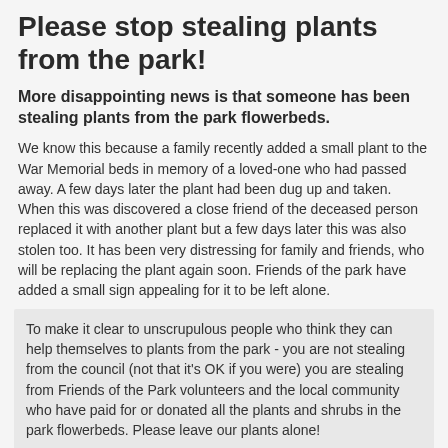Please stop stealing plants from the park!
More disappointing news is that someone has been stealing plants from the park flowerbeds.
We know this because a family recently added a small plant to the War Memorial beds in memory of a loved-one who had passed away. A few days later the plant had been dug up and taken. When this was discovered a close friend of the deceased person replaced it with another plant but a few days later this was also stolen too. It has been very distressing for family and friends, who will be replacing the plant again soon. Friends of the park have added a small sign appealing for it to be left alone.
To make it clear to unscrupulous people who think they can help themselves to plants from the park - you are not stealing from the council (not that it's OK if you were) you are stealing from Friends of the Park volunteers and the local community who have paid for or donated all the plants and shrubs in the park flowerbeds. Please leave our plants alone!
If visitors to the park witness anyone removing plants from the